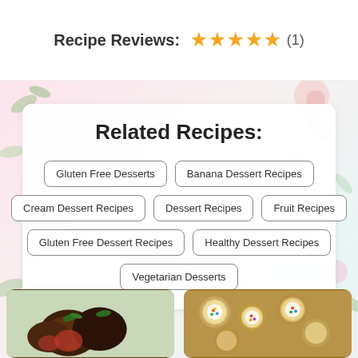Recipe Reviews: ★★★★★ (1)
Related Recipes:
Gluten Free Desserts
Banana Dessert Recipes
Cream Dessert Recipes
Dessert Recipes
Fruit Recipes
Gluten Free Dessert Recipes
Healthy Dessert Recipes
Vegetarian Desserts
[Figure (photo): Chocolate covered strawberries on a white surface with green leaves]
[Figure (photo): Decorated cookies with white frosting and colorful sprinkles]